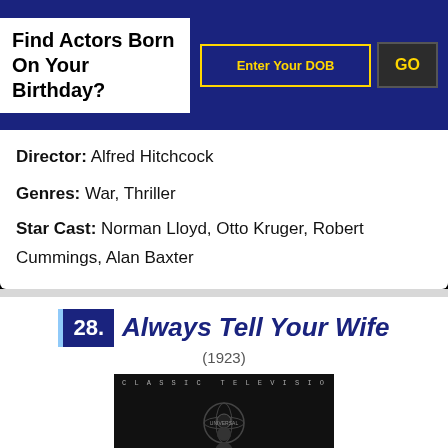Find Actors Born On Your Birthday?
Director: Alfred Hitchcock
Genres: War, Thriller
Star Cast: Norman Lloyd, Otto Kruger, Robert Cummings, Alan Baxter
28. Always Tell Your Wife (1923)
[Figure (photo): Movie still/poster image with 'CLASSIC UNIVERSAL TELEVISION' text overlay, dark background with a silhouette figure]
TIME100 | J. Balvin